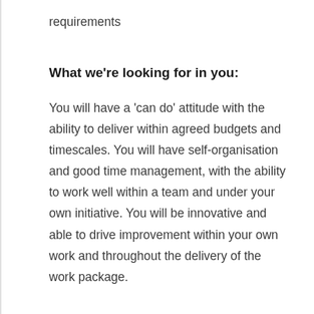requirements
What we're looking for in you:
You will have a 'can do' attitude with the ability to deliver within agreed budgets and timescales. You will have self-organisation and good time management, with the ability to work well within a team and under your own initiative. You will be innovative and able to drive improvement within your own work and throughout the delivery of the work package.